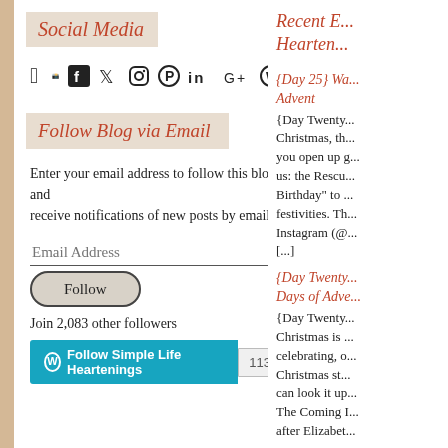Social Media
[Figure (other): Social media icons: Facebook, Twitter, Instagram, Pinterest, LinkedIn, Google+, WordPress]
Follow Blog via Email
Enter your email address to follow this blog and receive notifications of new posts by email.
Email Address
Follow
Join 2,083 other followers
Follow Simple Life Heartenings  113
Recent E... Hearten...
{Day 25} Wa... Advent
{Day Twenty... Christmas, th... you open up g... us: the Rescu... Birthday" to ... festivities. Th... Instagram (@ ... [...]
{Day Twenty... Days of Adve...
{Day Twenty... Christmas is ... celebrating, o... Christmas st... can look it up... The Coming I... after Elizabet...
{Day Twenty...